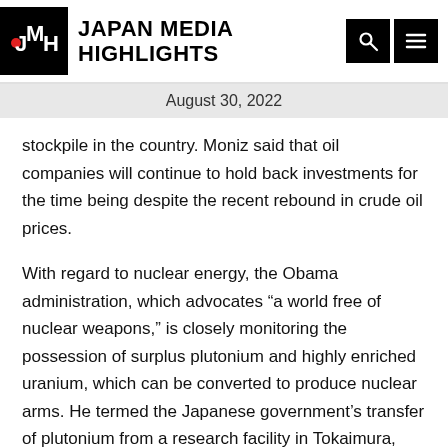JAPAN MEDIA HIGHLIGHTS
August 30, 2022
stockpile in the country. Moniz said that oil companies will continue to hold back investments for the time being despite the recent rebound in crude oil prices.
With regard to nuclear energy, the Obama administration, which advocates “a world free of nuclear weapons,” is closely monitoring the possession of surplus plutonium and highly enriched uranium, which can be converted to produce nuclear arms. He termed the Japanese government’s transfer of plutonium from a research facility in Tokaimura, Ibaraki Prefecture, to the U.S. “an important step forward.” He stated: “Japan and the U.S. will remain strong partners in nuclear nonproliferation, nuclear safety, and all other areas of nuclear energy.”